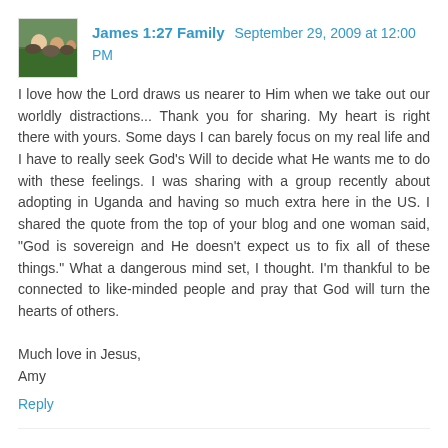[Figure (photo): Small avatar photo showing people, appears to be a family photo with green/outdoor background]
James 1:27 Family September 29, 2009 at 12:00 PM
I love how the Lord draws us nearer to Him when we take out our worldly distractions... Thank you for sharing. My heart is right there with yours. Some days I can barely focus on my real life and I have to really seek God's Will to decide what He wants me to do with these feelings. I was sharing with a group recently about adopting in Uganda and having so much extra here in the US. I shared the quote from the top of your blog and one woman said, "God is sovereign and He doesn't expect us to fix all of these things." What a dangerous mind set, I thought. I'm thankful to be connected to like-minded people and pray that God will turn the hearts of others.

Much love in Jesus,
Amy
Reply
[Figure (illustration): Round orange/yellow avatar icon with a blogger 'b' logo]
Melissa G September 29, 2009 at 12:38 PM